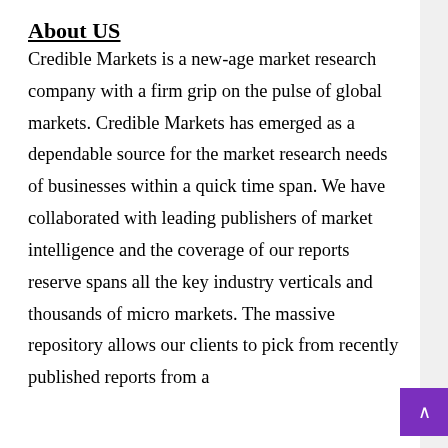About US
Credible Markets is a new-age market research company with a firm grip on the pulse of global markets. Credible Markets has emerged as a dependable source for the market research needs of businesses within a quick time span. We have collaborated with leading publishers of market intelligence and the coverage of our reports reserve spans all the key industry verticals and thousands of micro markets. The massive repository allows our clients to pick from recently published reports from a